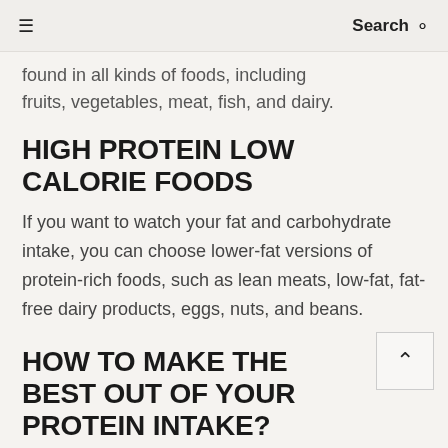≡   Search 🔍
found in all kinds of foods, including fruits, vegetables, meat, fish, and dairy.
HIGH PROTEIN LOW CALORIE FOODS
If you want to watch your fat and carbohydrate intake, you can choose lower-fat versions of protein-rich foods, such as lean meats, low-fat, fat-free dairy products, eggs, nuts, and beans.
HOW TO MAKE THE BEST OUT OF YOUR PROTEIN INTAKE?
Protein is a part of your diet that should